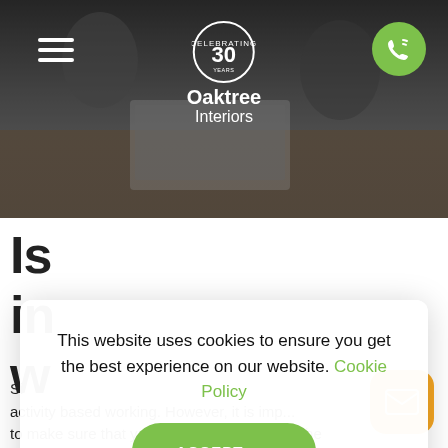[Figure (screenshot): Website header: dark office/meeting scene with people around a table with laptops. Hamburger menu icon top-left, Oaktree Interiors logo (with 30 years celebrating badge) centred, green phone button top-right.]
Is
in
w
Si
activity based working. However, it is imp...
to make sure that your office interiors and the
This website uses cookies to ensure you get the best experience on our website. Cookie Policy
ACCEPT →